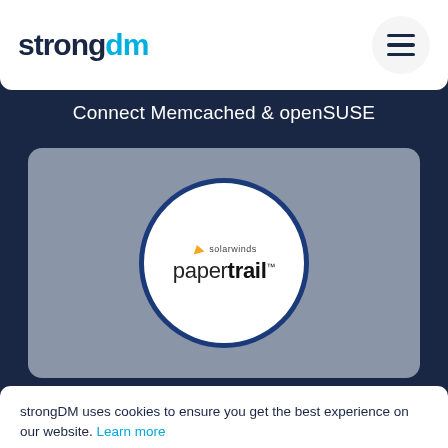[Figure (logo): strongDM logo in dark navy and cyan blue]
[Figure (illustration): SUSE watermark text faintly visible behind header]
Connect Memcached & openSUSE
[Figure (logo): Solarwinds Papertrail circular logo badge on gray card]
strongDM uses cookies to ensure you get the best experience on our website. Learn more
Got it!